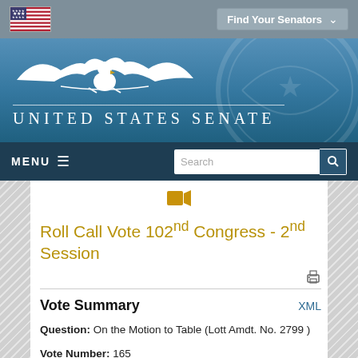[Figure (screenshot): United States Senate website screenshot showing navigation bar with US flag and Find Your Senators dropdown, Senate blue header with eagle logo and title, menu bar with search, video icon, and roll call vote content.]
Roll Call Vote 102nd Congress - 2nd Session
Vote Summary
Question: On the Motion to Table (Lott Amdt. No. 2799 )
Vote Number: 165